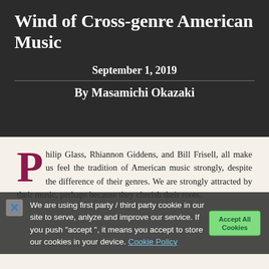Wind of Cross-genre American Music
September 1, 2019
By Masamichi Okazaki
Philip Glass, Rhiannon Giddens, and Bill Frisell, all make us feel the tradition of American music strongly, despite the difference of their genres. We are strongly attracted by their music, perhaps because they cherish their roots.
We are using first party / third party cookie in our site to serve, anlyze and improve our service. If you push "accept ", it means you accept to store our cookies in your device. Cookie Policy